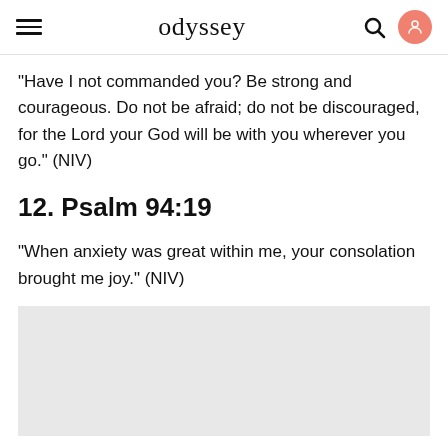odyssey
"Have I not commanded you? Be strong and courageous. Do not be afraid; do not be discouraged, for the Lord your God will be with you wherever you go." (NIV)
12. Psalm 94:19
"When anxiety was great within me, your consolation brought me joy." (NIV)
[Figure (other): Gray placeholder image/advertisement block]